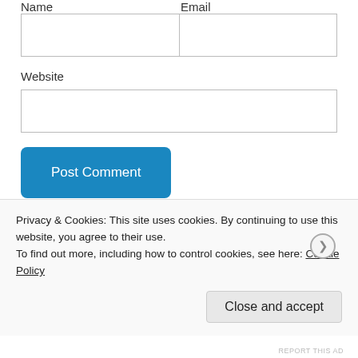Name
Email
Website
Post Comment
Notify me of new comments via email
Privacy & Cookies: This site uses cookies. By continuing to use this website, you agree to their use.
To find out more, including how to control cookies, see here: Cookie Policy
Close and accept
REPORT THIS AD